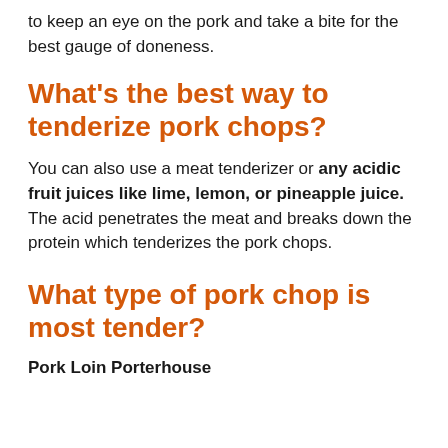to keep an eye on the pork and take a bite for the best gauge of doneness.
What's the best way to tenderize pork chops?
You can also use a meat tenderizer or any acidic fruit juices like lime, lemon, or pineapple juice. The acid penetrates the meat and breaks down the protein which tenderizes the pork chops.
What type of pork chop is most tender?
Pork Loin Porterhouse